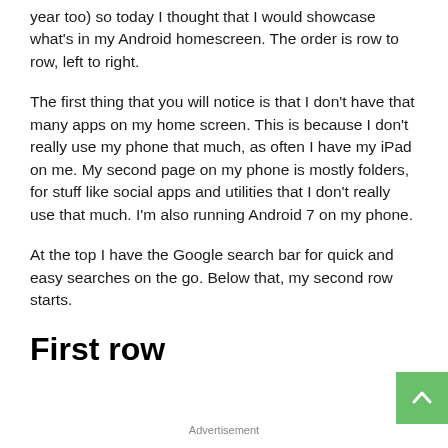year too) so today I thought that I would showcase what's in my Android homescreen. The order is row to row, left to right.
The first thing that you will notice is that I don't have that many apps on my home screen. This is because I don't really use my phone that much, as often I have my iPad on me. My second page on my phone is mostly folders, for stuff like social apps and utilities that I don't really use that much. I'm also running Android 7 on my phone.
At the top I have the Google search bar for quick and easy searches on the go. Below that, my second row starts.
First row
Advertisement